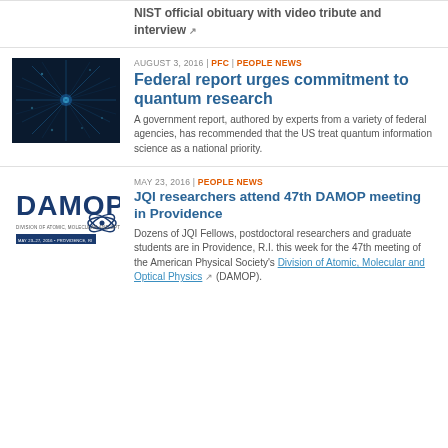NIST official obituary with video tribute and interview
AUGUST 3, 2016 | PFC | PEOPLE NEWS
Federal report urges commitment to quantum research
A government report, authored by experts from a variety of federal agencies, has recommended that the US treat quantum information science as a national priority.
MAY 23, 2016 | PEOPLE NEWS
JQI researchers attend 47th DAMOP meeting in Providence
Dozens of JQI Fellows, postdoctoral researchers and graduate students are in Providence, R.I. this week for the 47th meeting of the American Physical Society's Division of Atomic, Molecular and Optical Physics (DAMOP).